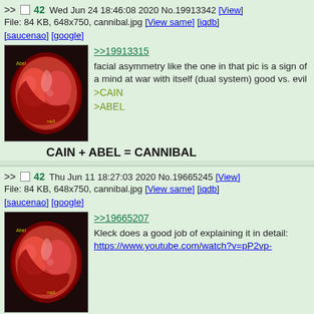>> 42 Wed Jun 24 18:46:08 2020 No.19913342 [View]
File: 84 KB, 648x750, cannibal.jpg [View same] [iqdb]
[saucenao] [google]
[Figure (photo): Medical scan image of brain/fetus]
>>19913315
facial asymmetry like the one in that pic is a sign of a mind at war with itself (dual system) good vs. evil
>CAIN
>ABEL
CAIN + ABEL = CANNIBAL
>> 42 Thu Jun 11 18:27:03 2020 No.19665245 [View]
File: 84 KB, 648x750, cannibal.jpg [View same] [iqdb]
[saucenao] [google]
[Figure (photo): Medical scan image of brain/fetus]
>>19665207
Kleck does a good job of explaining it in detail:
https://www.youtube.com/watch?v=pP2vp-